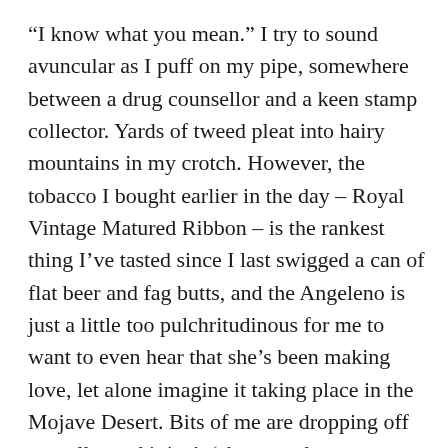“I know what you mean.” I try to sound avuncular as I puff on my pipe, somewhere between a drug counsellor and a keen stamp collector. Yards of tweed pleat into hairy mountains in my crotch. However, the tobacco I bought earlier in the day – Royal Vintage Matured Ribbon – is the rankest thing I’ve tasted since I last swigged a can of flat beer and fag butts, and the Angeleno is just a little too pulchritudinous for me to want to even hear that she’s been making love, let alone imagine it taking place in the Mojave Desert. Bits of me are dropping off as well – and it isn’t ‘shrooms that are to blame.